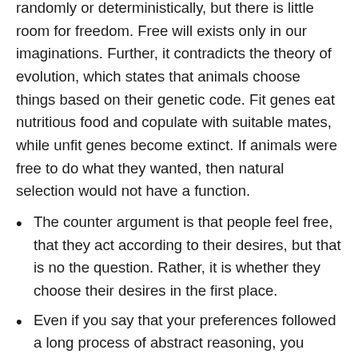randomly or deterministically, but there is little room for freedom. Free will exists only in our imaginations. Further, it contradicts the theory of evolution, which states that animals choose things based on their genetic code. Fit genes eat nutritious food and copulate with suitable mates, while unfit genes become extinct. If animals were free to do what they wanted, then natural selection would not have a function.
The counter argument is that people feel free, that they act according to their desires, but that is no the question. Rather, it is whether they choose their desires in the first place.
Even if you say that your preferences followed a long process of abstract reasoning, you cannot explain why you chose to embark on one train of reasoning over another.